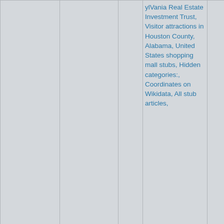| Nav | Name | Link | Categories | Extra |
| --- | --- | --- | --- | --- |
|  |  |  | ylVania Real Estate Investment Trust, Visitor attractions in Houston County, Alabama, United States shopping mall stubs, Hidden categories:, Coordinates on Wikidata, All stub articles, |  |
| 90: 21.6mi [icons] | Northside Methodist Academy | [link icon] | Buildings and structures in Dothan, Alabama, Educational institutions established in 1975, Schools in Houston County, Alabama, Private high schools in Alabama, |  |